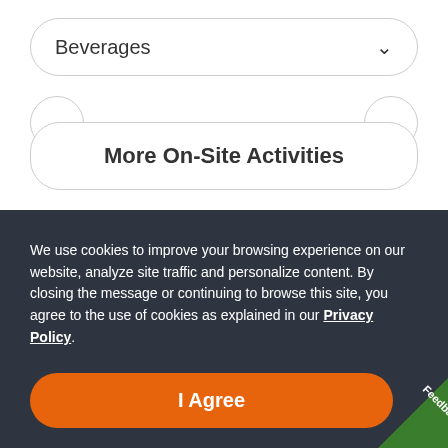Beverages
More On-Site Activities
We use cookies to improve your browsing experience on our website, analyze site traffic and personalize content. By closing the message or continuing to browse this site, you agree to the use of cookies as explained in our Privacy Policy.
I Agree
Feedback